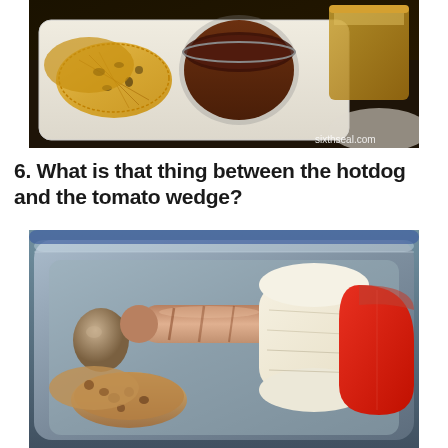[Figure (photo): A food tray with crispy fried noodle rolls or egg net rolls, a round cup with brown sauce/gravy, and another dish partially visible on the right. Watermark reads 'sixthseal.com'.]
6. What is that thing between the hotdog and the tomato wedge?
[Figure (photo): A foil tray containing what appears to be a meal set with a hotdog/sausage, a white cylindrical item (possibly a tofu or egg roll), a tomato wedge, a quail egg, and fried/braised round slices of what may be lotus root or fish cake.]